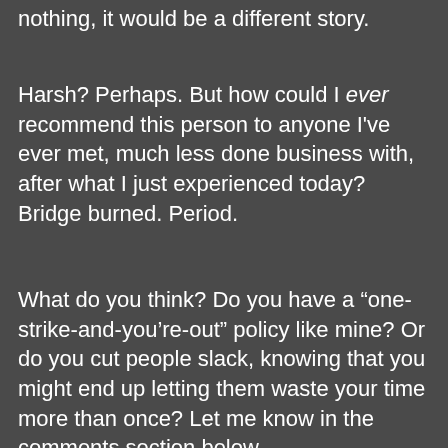nothing, it would be a different story.
Harsh? Perhaps. But how could I ever recommend this person to anyone I've ever met, much less done business with, after what I just experienced today? Bridge burned. Period.
What do you think? Do you have a “one-strike-and-you’re-out” policy like mine? Or do you cut people slack, knowing that you might end up letting them waste your time more than once? Let me know in the comments section below.